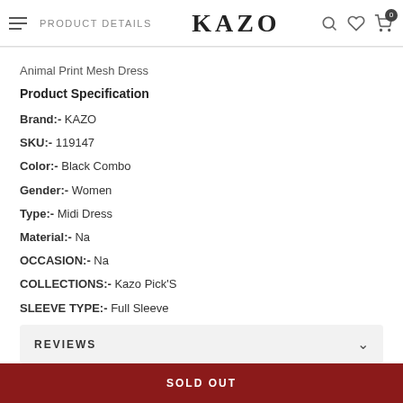PRODUCT DETAILS | KAZO
Animal Print Mesh Dress
Product Specification
Brand:- KAZO
SKU:- 119147
Color:- Black Combo
Gender:- Women
Type:- Midi Dress
Material:- Na
OCCASION:- Na
COLLECTIONS:- Kazo Pick'S
SLEEVE TYPE:- Full Sleeve
FIT:- Fitted
WASHCARE:- Delicate Machine Wash
REVIEWS
SOLD OUT